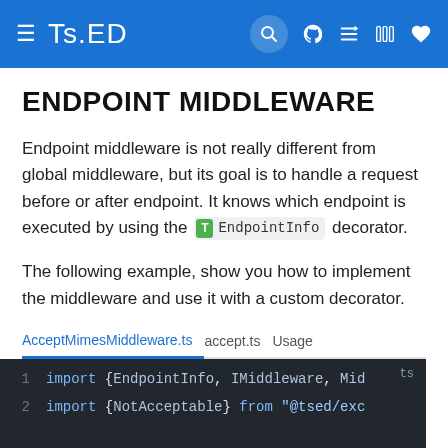Ts.ED
ENDPOINT MIDDLEWARE
Endpoint middleware is not really different from global middleware, but its goal is to handle a request before or after endpoint. It knows which endpoint is executed by using the EndpointInfo decorator.
The following example, show you how to implement the middleware and use it with a custom decorator.
AcceptMimesMiddleware.ts  accept.ts  Usage
[Figure (screenshot): Code block showing TypeScript imports: import {EndpointInfo, IMiddleware, Mid... and import {NotAcceptable} from "@tsed/exc..."]